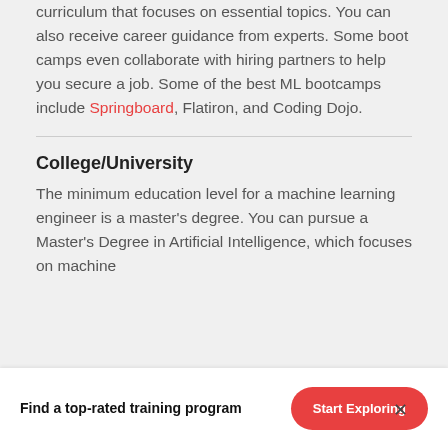curriculum that focuses on essential topics. You can also receive career guidance from experts. Some boot camps even collaborate with hiring partners to help you secure a job. Some of the best ML bootcamps include Springboard, Flatiron, and Coding Dojo.
College/University
The minimum education level for a machine learning engineer is a master's degree. You can pursue a Master's Degree in Artificial Intelligence, which focuses on machine...
Find a top-rated training program